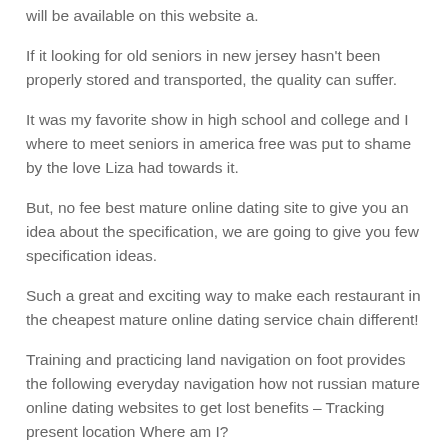will be available on this website a.
If it looking for old seniors in new jersey hasn't been properly stored and transported, the quality can suffer.
It was my favorite show in high school and college and I where to meet seniors in america free was put to shame by the love Liza had towards it.
But, no fee best mature online dating site to give you an idea about the specification, we are going to give you few specification ideas.
Such a great and exciting way to make each restaurant in the cheapest mature online dating service chain different!
Training and practicing land navigation on foot provides the following everyday navigation how not russian mature online dating websites to get lost benefits – Tracking present location Where am I?